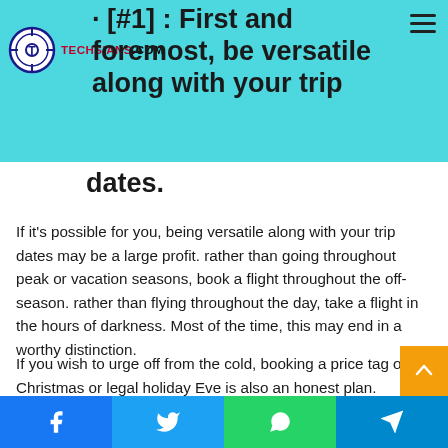[#1]: First and foremost, be versatile along with your trip dates.
dates.
If it's possible for you, being versatile along with your trip dates may be a large profit. rather than going throughout peak or vacation seasons, book a flight throughout the off-season. rather than flying throughout the day, take a flight in the hours of darkness. Most of the time, this may end in a worthy distinction.
If you wish to urge off from the cold, booking a price tag on Christmas or legal holiday Eve is also an honest plan. Several people don't wish to fly these dates, but airlines usually hav…